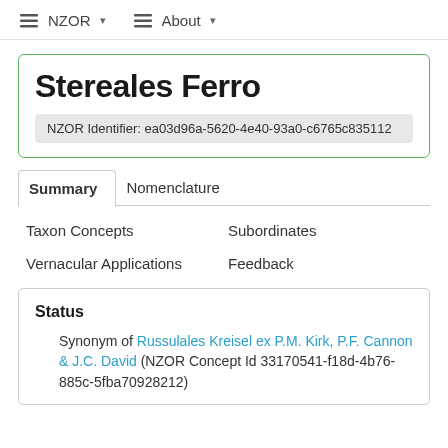NZOR ▾   About ▾
Stereales Ferro
NZOR Identifier: ea03d96a-5620-4e40-93a0-c6765c835112
Summary   Nomenclature
Taxon Concepts   Subordinates
Vernacular Applications   Feedback
Status
Synonym of Russulales Kreisel ex P.M. Kirk, P.F. Cannon & J.C. David (NZOR Concept Id 33170541-f18d-4b76-885c-5fba70928212)